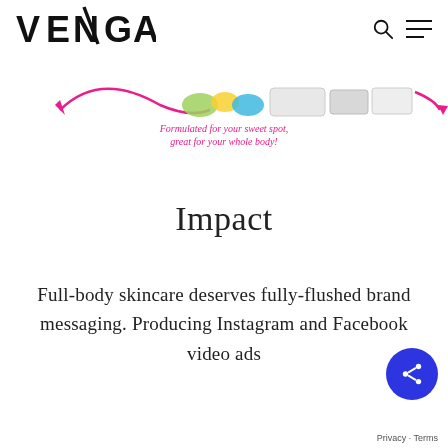VENGA
[Figure (photo): Partial view of a colorful skincare product advertisement with text 'Formulated for your sweet spot, great for your whole body!' in pink italic font, with colorful product packaging visible]
Impact
Full-body skincare deserves fully-flushed brand messaging. Producing Instagram and Facebook video ads